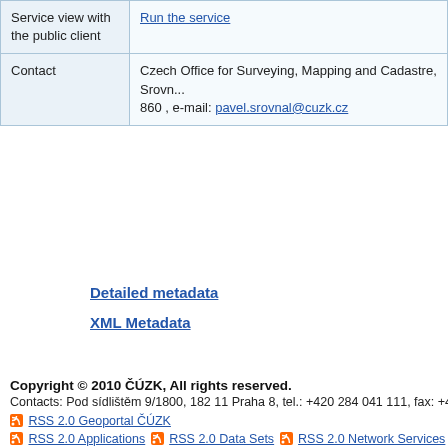|  |  |
| --- | --- |
| Service view with the public client | Run the service |
| Contact | Czech Office for Surveying, Mapping and Cadastre, Srovn... 860 , e-mail: pavel.srovnal@cuzk.cz |
Detailed metadata
XML Metadata
Copyright © 2010 ČÚZK, All rights reserved.
Contacts: Pod sídlištěm 9/1800, 182 11 Praha 8, tel.: +420 284 041 111, fax: +420 284 0...
RSS 2.0 Geoportal ČÚZK
RSS 2.0 Applications  RSS 2.0 Data Sets  RSS 2.0 Network Services  RSS...